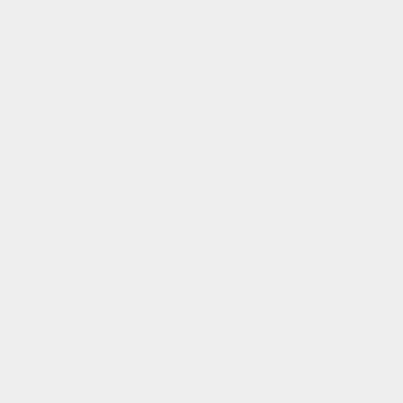|  |  |
| --- | --- |
|  | someone w listens to th table. |
| caption | Table capt title that wi displayed ju above the t |
Example: %TABLE{ tableborder="0" cellpadding="4" cellspacing="3" cellborder="0" }% | *A1* | *B1* | | A2 | B2 |
Related: See TablePlugin for more details
TEAL -- start teal colored text